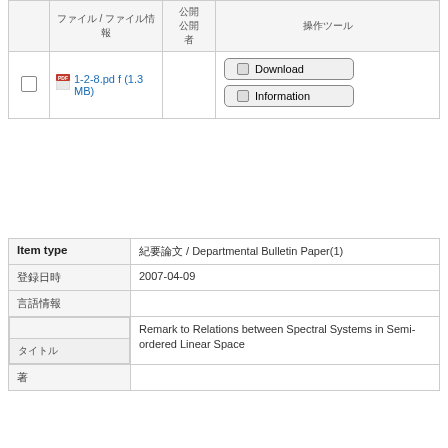|  | ファイル / ファイル情報 | 公開
公開
者 | 操作ツール |
| --- | --- | --- | --- |
| ☐ | 📄 1-2-8.pdf (1.3 MB) |  | Download | Information |
| Item type | 紀要論文 / Departmental Bulletin Paper(1) |
| 登録日時 | 2007-04-09 |
| 言語情報 |  |
| タイトル | Remark to Relations between Spectral Systems in Semi-ordered Linear Space |
| 著 |  |